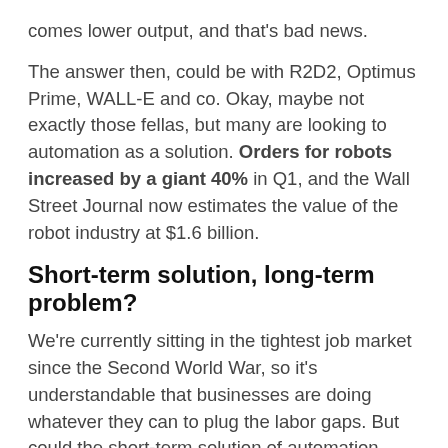comes lower output, and that's bad news.
The answer then, could be with R2D2, Optimus Prime, WALL-E and co. Okay, maybe not exactly those fellas, but many are looking to automation as a solution. Orders for robots increased by a giant 40% in Q1, and the Wall Street Journal now estimates the value of the robot industry at $1.6 billion.
Short-term solution, long-term problem?
We're currently sitting in the tightest job market since the Second World War, so it's understandable that businesses are doing whatever they can to plug the labor gaps. But could the short-term solution of automation spell trouble for jobs in the long term?